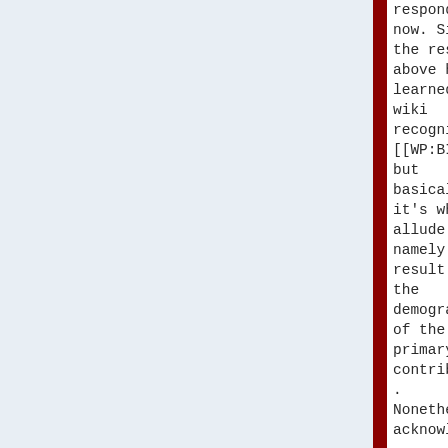responding now. Since the response above have learned that wiki recognizes [[WP:BIAS]] but basically it's what I allude to, namely a result of the demographics of the primary contributors. Nonetheless acknowledgin
responding now. Since the response above have learned that wiki recognizes [[WP:BIAS]] but basically it's what I allude to, namely a result of the demographics of the primary contributors. Nonetheless acknowledgin